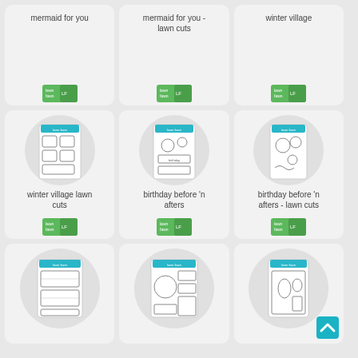[Figure (illustration): Product card: mermaid for you - text label top, lawn fawn logo badge bottom, light gray rounded card]
[Figure (illustration): Product card: mermaid for you - lawn cuts - text label top, lawn fawn logo badge bottom]
[Figure (illustration): Product card: winter village - text label top, lawn fawn logo badge bottom]
[Figure (illustration): Product card: winter village lawn cuts - product image in circle, text label, logo badge]
[Figure (illustration): Product card: birthday before n afters - product image in circle, text label, logo badge]
[Figure (illustration): Product card: birthday before n afters - lawn cuts - product image in circle, text label, logo badge]
[Figure (illustration): Product card: row 3 left - product image in circle, no label visible]
[Figure (illustration): Product card: row 3 center - product image in circle, no label visible]
[Figure (illustration): Product card: row 3 right - product image in circle, no label visible, back-to-top arrow]